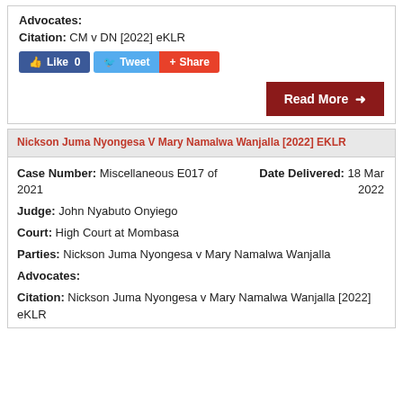Advocates:
Citation: CM v DN [2022] eKLR
[Figure (other): Social media buttons: Like 0, Tweet, Share]
[Figure (other): Read More button (dark red)]
Nickson Juma Nyongesa V Mary Namalwa Wanjalla [2022] EKLR
Case Number: Miscellaneous E017 of 2021
Date Delivered: 18 Mar 2022
Judge: John Nyabuto Onyiego
Court: High Court at Mombasa
Parties: Nickson Juma Nyongesa v Mary Namalwa Wanjalla
Advocates:
Citation: Nickson Juma Nyongesa v Mary Namalwa Wanjalla [2022] eKLR